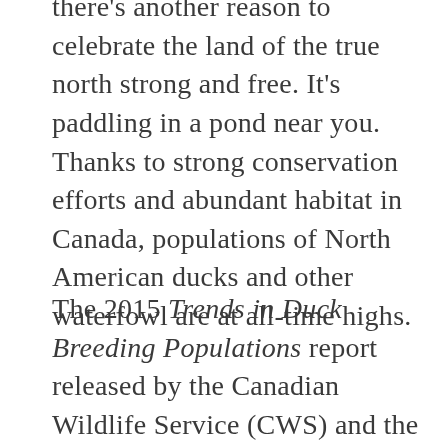there's another reason to celebrate the land of the true north strong and free. It's paddling in a pond near you. Thanks to strong conservation efforts and abundant habitat in Canada, populations of North American ducks and other waterfowl are at all-time highs.
The 2015 Trends in Duck Breeding Populations report released by the Canadian Wildlife Service (CWS) and the U.S. Fish & Wildlife Service (USFWS) summarizes duck populations and habitats, as surveyed on